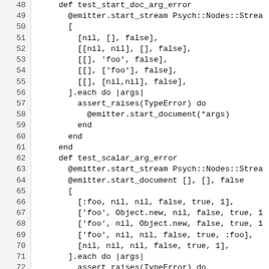[Figure (screenshot): Source code snippet in Ruby showing test methods: test_start_doc_arg_error and test_scalar_arg_error, with line numbers 48-77. Code includes array definitions, .each do blocks, and assert_raises(TypeError) calls.]